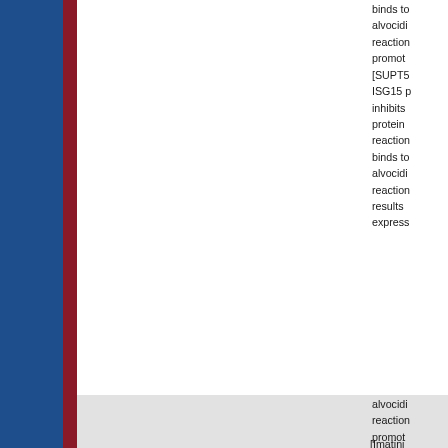binds to alvocidib reaction promotes [SUPT5 ISG15 p inhibits protein reaction binds to alvocidib reaction results express
G Isg15   ISG15 ubiquitin-like modifier   multiple interactions   ISO
alvocidib reaction promotes [NELFA ISG15 p inhibits protein reaction binds to alvocidib reaction promotes [POLR2 ISG15 p inhibits protein reaction binds to alvocidib reaction results express
[Imatini